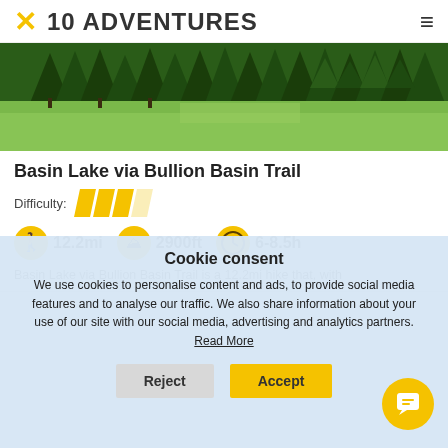10 ADVENTURES
[Figure (photo): Mountain landscape with dense evergreen pine trees and green meadows in background, sunny day]
Basin Lake via Bullion Basin Trail
Difficulty: (4 bars, 3 full yellow, 1 faded)
12.2mi   2900ft   6-8.5h
Basin Lake via Bullion Basin Trail is a 12.2mi hike that, with
Cookie consent
We use cookies to personalise content and ads, to provide social media features and to analyse our traffic. We also share information about your use of our site with our social media, advertising and analytics partners. Read More